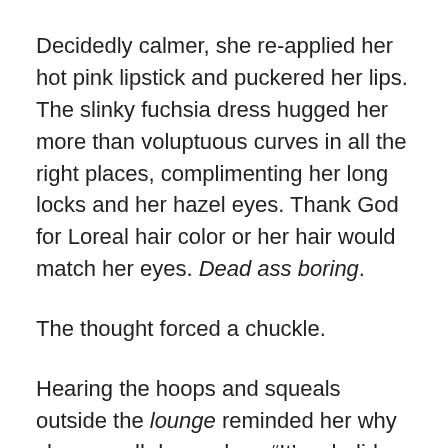Decidedly calmer, she re-applied her hot pink lipstick and puckered her lips. The slinky fuchsia dress hugged her more than voluptuous curves in all the right places, complimenting her long locks and her hazel eyes. Thank God for Loreal hair color or her hair would match her eyes. Dead ass boring.
The thought forced a chuckle.
Hearing the hoops and squeals outside the lounge reminded her why she was all dressed up. “It’s a holiday party after all. Time for foolishness, right?” Okay, so she’d done that to herself the night before. Perhaps Nick had been too drunk to remember.
Grabbing her purse she inched toward the door, steeling her nerves. Time to face the music so to speak. Opening